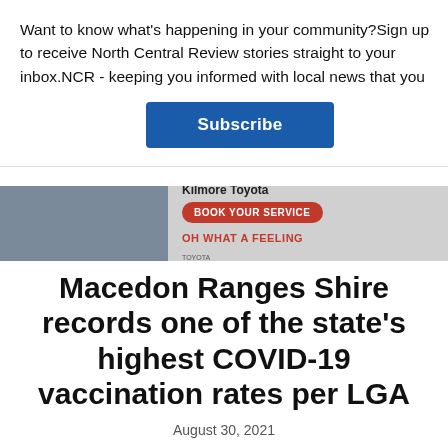Want to know what's happening in your community?Sign up to receive North Central Review stories straight to your inbox.NCR - keeping you informed with local news that you
Subscribe
[Figure (screenshot): Toyota car advertisement banner with Kilmore Toyota branding, Book Your Service red button, and OH WHAT A FEELING Toyota tagline]
Macedon Ranges Shire records one of the state's highest COVID-19 vaccination rates per LGA
August 30, 2021
[Figure (photo): Partial photo of a person, light blue/white tones, cropped at bottom of page]